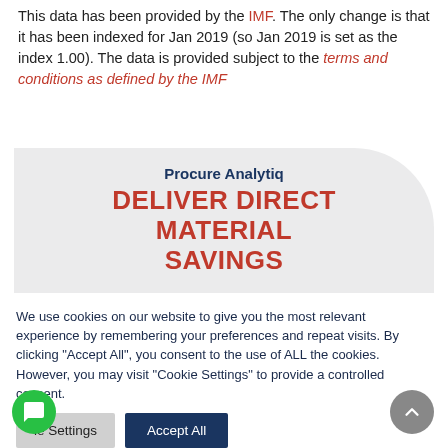This data has been provided by the IMF. The only change is that it has been indexed for Jan 2019 (so Jan 2019 is set as the index 1.00). The data is provided subject to the terms and conditions as defined by the IMF
[Figure (other): Promotional banner for Procure Analytiq with text 'DELIVER DIRECT MATERIAL SAVINGS' in red bold font on a light grey background with rounded top-right corner]
We use cookies on our website to give you the most relevant experience by remembering your preferences and repeat visits. By clicking "Accept All", you consent to the use of ALL the cookies. However, you may visit "Cookie Settings" to provide a controlled consent.